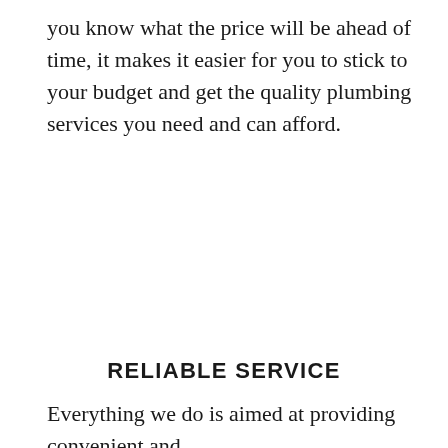you know what the price will be ahead of time, it makes it easier for you to stick to your budget and get the quality plumbing services you need and can afford.
RELIABLE SERVICE
Everything we do is aimed at providing convenient and